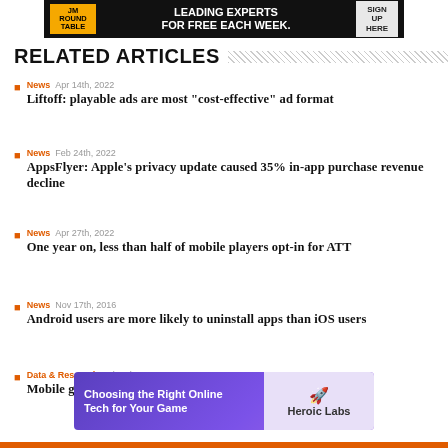[Figure (other): Top advertisement banner with round table and leading experts text]
RELATED ARTICLES
News  Apr 14th, 2022  Liftoff: playable ads are most "cost-effective" ad format
News  Feb 24th, 2022  AppsFlyer: Apple's privacy update caused 35% in-app purchase revenue decline
News  Apr 27th, 2022  One year on, less than half of mobile players opt-in for ATT
News  Nov 17th, 2016  Android users are more likely to uninstall apps than iOS users
Data & Research  Jul 28th, 2022  Mobile games industry to enjoy exponential growth up to 2029
[Figure (other): Bottom advertisement for Heroic Labs: Choosing the Right Online Tech for Your Game]